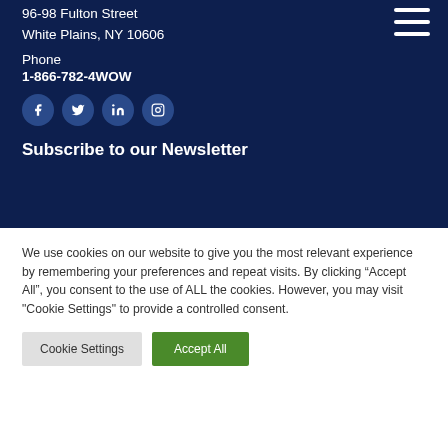96-98 Fulton Street
White Plains, NY 10606
Phone
1-866-782-4WOW
[Figure (infographic): Four social media icon buttons: Facebook, Twitter, LinkedIn, Instagram — circular dark blue buttons with white icons]
Subscribe to our Newsletter
We use cookies on our website to give you the most relevant experience by remembering your preferences and repeat visits. By clicking “Accept All”, you consent to the use of ALL the cookies. However, you may visit "Cookie Settings" to provide a controlled consent.
Cookie Settings
Accept All